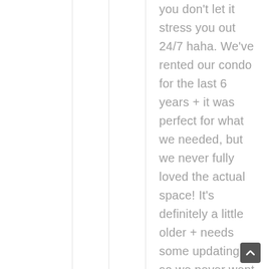you don't let it stress you out 24/7 haha. We've rented our condo for the last 6 years + it was perfect for what we needed, but we never fully loved the actual space! It's definitely a little older + needs some updating, so we never went super crazy to clean/decorate it because no matter what, it'd never feel totally clean. So I'm really looking forward to getting into a newer space, with less stuff, putting some